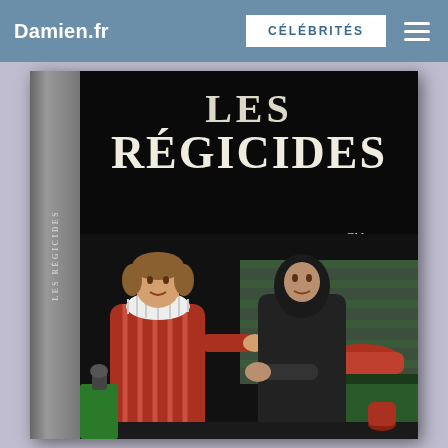Damien.fr | CÉLÉBRITÉS
[Figure (photo): Book cover of 'Les Régicides' showing two historical figures in period costume (one in nobleman's dress, one in monk's robe) against a black background. The book spine reads 'LES RÉGICIDES'. Authors listed: Clément, Ravaillac, Damiens.]